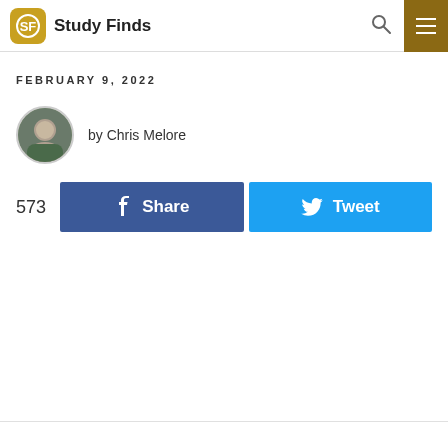Study Finds
FEBRUARY 9, 2022
by Chris Melore
573  Share  Tweet